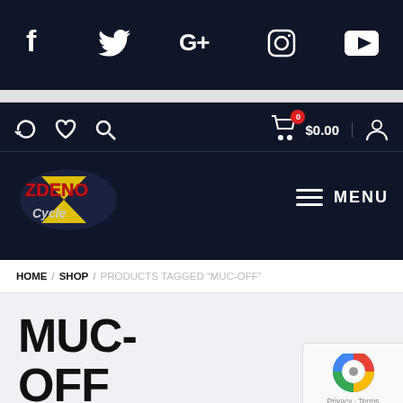Social media icons: Facebook, Twitter, Google+, Instagram, YouTube
Nav bar: refresh, heart, search icons | Cart 0 $0.00 | user icon | Zdeno Cycle logo | MENU
HOME / SHOP / PRODUCTS TAGGED “MUC-OFF”
MUC-OFF